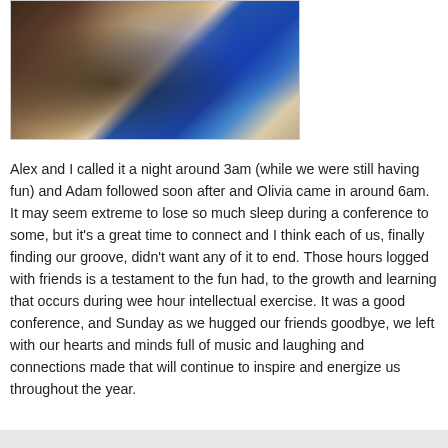[Figure (photo): Photo of people sitting around a round table covered with a white tablecloth, one person wearing a blue top visible from behind, another person's hands visible on the table, orange drinks on the table.]
Alex and I called it a night around 3am (while we were still having fun) and Adam followed soon after and Olivia came in around 6am. It may seem extreme to lose so much sleep during a conference to some, but it's a great time to connect and I think each of us, finally finding our groove, didn't want any of it to end. Those hours logged with friends is a testament to the fun had, to the growth and learning that occurs during wee hour intellectual exercise. It was a good conference, and Sunday as we hugged our friends goodbye, we left with our hearts and minds full of music and laughing and connections made that will continue to inspire and energize us throughout the year.